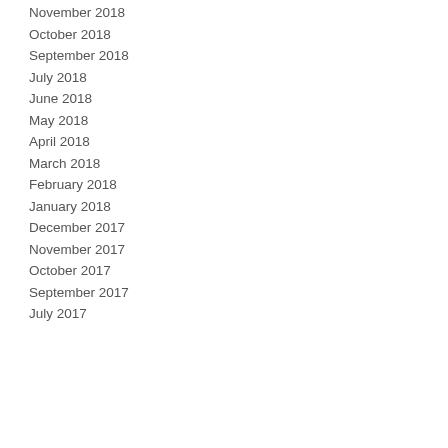November 2018
October 2018
September 2018
July 2018
June 2018
May 2018
April 2018
March 2018
February 2018
January 2018
December 2017
November 2017
October 2017
September 2017
July 2017